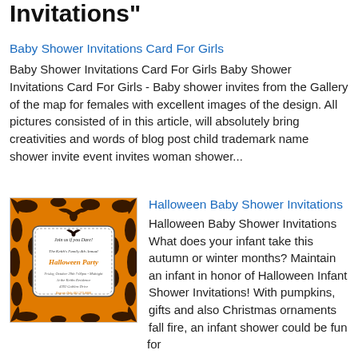Invitations"
Baby Shower Invitations Card For Girls
Baby Shower Invitations Card For Girls Baby Shower Invitations Card For Girls - Baby shower invites from the Gallery of the map for females with excellent images of the design. All pictures consisted of in this article, will absolutely bring creativities and words of blog post child trademark name shower invite event invites woman shower...
[Figure (photo): Halloween party invitation with orange and black damask pattern, bat silhouette, and text 'Join us if you Dare! The Keith's Family 4th Annual Halloween Party, Friday October 29th 7:00pm-Midnight, At the Keiths Residence, 4392 Goblins Drive, Regrets Only 661.273.0000']
Halloween Baby Shower Invitations
Halloween Baby Shower Invitations What does your infant take this autumn or winter months? Maintain an infant in honor of Halloween Infant Shower Invitations! With pumpkins, gifts and also Christmas ornaments fall fire, an infant shower could be fun for Halloween. Make use of these Halloween suggestions infant shower to obtain your own in your...